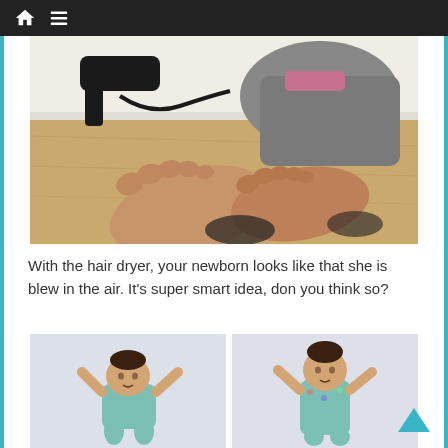Navigation bar with home and menu icons
[Figure (photo): A person lying on a wooden floor holding a hair dryer, with bare feet prominently in the foreground close to the camera.]
With the hair dryer, your newborn looks like that she is blew in the air. It's super smart idea, don you think so?
[Figure (photo): A baby lying on a light blue-grey surface wearing a teal outfit, arms raised, seen from above.]
[Figure (photo): A baby standing or propped up against a light blue-grey surface wearing a teal patterned outfit.]